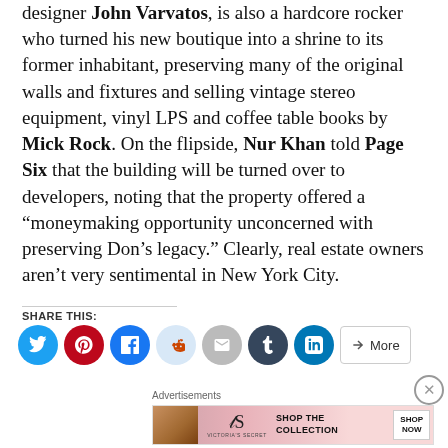designer John Varvatos, is also a hardcore rocker who turned his new boutique into a shrine to its former inhabitant, preserving many of the original walls and fixtures and selling vintage stereo equipment, vinyl LPS and coffee table books by Mick Rock. On the flipside, Nur Khan told Page Six that the building will be turned over to developers, noting that the property offered a “moneymaking opportunity unconcerned with preserving Don’s legacy.” Clearly, real estate owners aren’t very sentimental in New York City.
SHARE THIS:
[Figure (screenshot): Social share buttons row: Twitter (blue), Pinterest (red), Facebook (blue), Reddit (light blue), Email (gray), Tumblr (dark), LinkedIn (blue), More button]
Advertisements
[Figure (screenshot): Victoria's Secret advertisement banner: model on left, VS logo, 'SHOP THE COLLECTION' text, 'SHOP NOW' button]